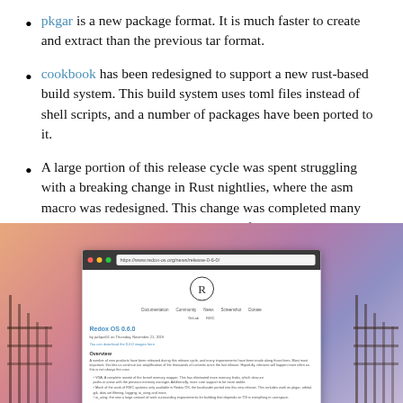pkgar is a new package format. It is much faster to create and extract than the previous tar format.
cookbook has been redesigned to support a new rust-based build system. This build system uses toml files instead of shell scripts, and a number of packages have been ported to it.
A large portion of this release cycle was spent struggling with a breaking change in Rust nightlies, where the asm macro was redesigned. This change was completed many months ago, but other issues kept us from a release.
[Figure (screenshot): Screenshot of the Redox OS website showing the Redox OS 0.6.0 release page, overlaid on a sunset/dusk background image with a pier and fence silhouette on both sides.]